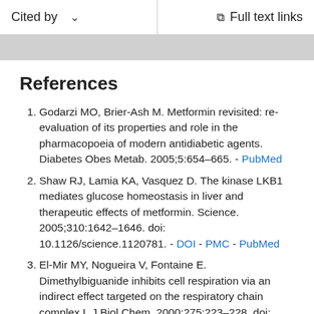Cited by   Full text links
References
Godarzi MO, Brier-Ash M. Metformin revisited: re-evaluation of its properties and role in the pharmacopoeia of modern antidiabetic agents. Diabetes Obes Metab. 2005;5:654–665. - PubMed
Shaw RJ, Lamia KA, Vasquez D. The kinase LKB1 mediates glucose homeostasis in liver and therapeutic effects of metformin. Science. 2005;310:1642–1646. doi: 10.1126/science.1120781. - DOI - PMC - PubMed
El-Mir MY, Nogueira V, Fontaine E. Dimethylbiguanide inhibits cell respiration via an indirect effect targeted on the respiratory chain complex I. J Biol Chem. 2000;275:223–228. doi: